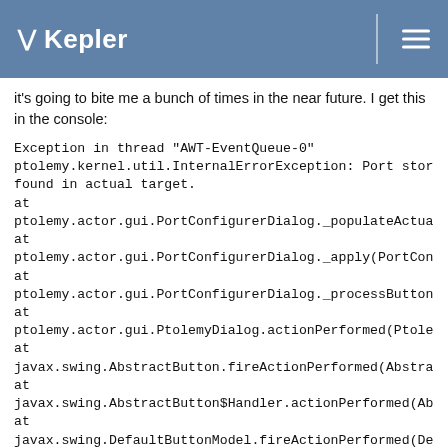Kepler
it's going to bite me a bunch of times in the near future. I get this in the console:
Exception in thread "AWT-EventQueue-0"
ptolemy.kernel.util.InternalErrorException: Port stored in _ports not found in actual target.
at
ptolemy.actor.gui.PortConfigurerDialog._populateActualPorts(PortCo
at
ptolemy.actor.gui.PortConfigurerDialog._apply(PortConfigurerDialog.j
at
ptolemy.actor.gui.PortConfigurerDialog._processButtonPress(PortCo
at
ptolemy.actor.gui.PtolemyDialog.actionPerformed(PtolemyDialog.java
at
javax.swing.AbstractButton.fireActionPerformed(AbstractButton.java:
at
javax.swing.AbstractButton$Handler.actionPerformed(AbstractButton
at
javax.swing.DefaultButtonModel.fireActionPerformed(DefaultButtonM
at
javax.swing.DefaultButtonModel.setPressed(DefaultButtonModel.java
at
javax.swing.plaf.basic.BasicButtonListener.mouseReleased(BasicBut
at javax.awt.Component.processMouseEvent(Component.java:6363)